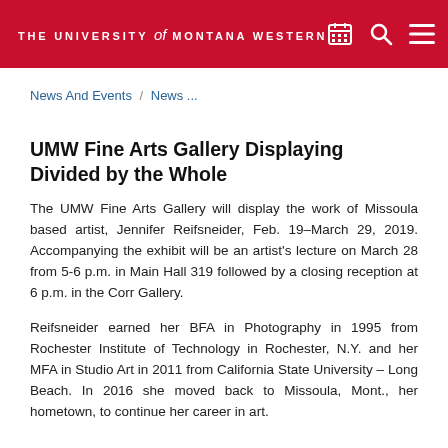THE UNIVERSITY of MONTANA WESTERN
News And Events / News ...
UMW Fine Arts Gallery Displaying Divided by the Whole
The UMW Fine Arts Gallery will display the work of Missoula based artist, Jennifer Reifsneider, Feb. 19-March 29, 2019. Accompanying the exhibit will be an artist's lecture on March 28 from 5-6 p.m. in Main Hall 319 followed by a closing reception at 6 p.m. in the Corr Gallery.
Reifsneider earned her BFA in Photography in 1995 from Rochester Institute of Technology in Rochester, N.Y. and her MFA in Studio Art in 2011 from California State University – Long Beach. In 2016 she moved back to Missoula, Mont., her hometown, to continue her career in art.